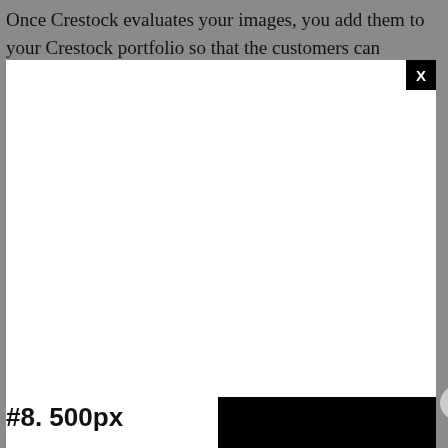Once Crestock evaluates your images, you add them to your Crestock portfolio so that the customers can
[Figure (screenshot): A white video player area with a black close (X) button in top right corner, and a circular X close button on the right side. An error overlay in the bottom right of the video area shows the message: 'The media could not be loaded, either because the server or network failed or because the format is not supported.' with a large X icon over it.]
#8. 500px